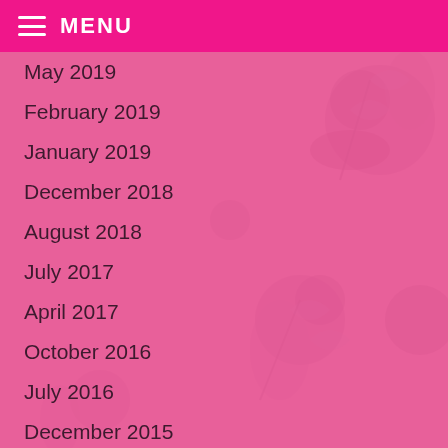MENU
May 2019
February 2019
January 2019
December 2018
August 2018
July 2017
April 2017
October 2016
July 2016
December 2015
October 2015
July 2015
October 2014
March 2014
June 2013